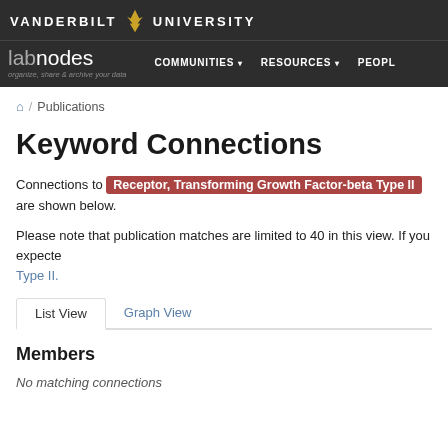VANDERBILT UNIVERSITY — labnodes — COMMUNITIES — RESOURCES — PEOPLE
🏠 / Publications
Keyword Connections
Connections to Receptor, Transforming Growth Factor-beta Type II are shown below.
Please note that publication matches are limited to 40 in this view. If you expected more results, please view full listing for Receptor, Transforming Growth Factor-beta Type II.
List View   Graph View
Members
No matching connections